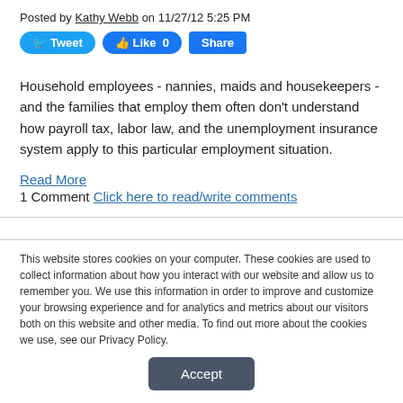Posted by Kathy Webb on 11/27/12 5:25 PM
[Figure (other): Social sharing buttons: Tweet, Like 0, Share]
Household employees - nannies, maids and housekeepers - and the families that employ them often don't understand how payroll tax, labor law, and the unemployment insurance system apply to this particular employment situation.
Read More
1 Comment Click here to read/write comments
This website stores cookies on your computer. These cookies are used to collect information about how you interact with our website and allow us to remember you. We use this information in order to improve and customize your browsing experience and for analytics and metrics about our visitors both on this website and other media. To find out more about the cookies we use, see our Privacy Policy.
[Figure (other): Accept button for cookie consent]